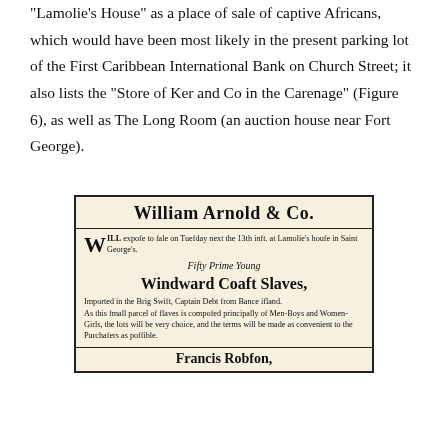“Lamolie’s House” as a place of sale of captive Africans, which would have been most likely in the present parking lot of the First Caribbean International Bank on Church Street; it also lists the “Store of Ker and Co in the Carenage” (Figure 6), as well as The Long Room (an auction house near Fort George).
[Figure (photo): Historical newspaper advertisement for William Arnold & Co. announcing a sale of 'Fifty Prime Young Windward Coast Slaves' imported in the Brig Swift, Captain Debt from Bance Island, at Lamolie's house in Saint George's, with Francis Robson listed at the bottom.]